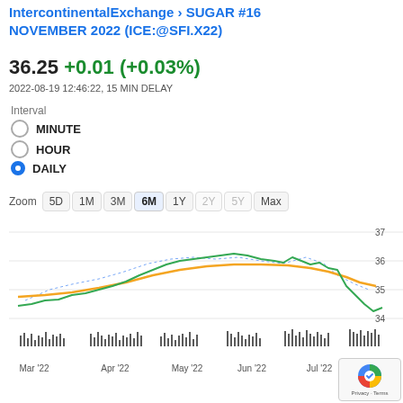IntercontinentalExchange › SUGAR #16 NOVEMBER 2022 (ICE:@SFI.X22)
36.25 +0.01 (+0.03%)
2022-08-19 12:46:22, 15 MIN DELAY
Interval
MINUTE
HOUR
DAILY
Zoom  5D  1M  3M  6M  1Y  2Y  5Y  Max
[Figure (continuous-plot): Line chart showing SUGAR #16 November 2022 futures price from March 2022 to August 2022. Two lines: a green jagged line (price) and an orange smooth line (moving average). Blue dotted markers show additional data points. Price ranges from about 34 to 37. The green line peaks around Jun-Jul 2022 near 37, then drops sharply to ~34.7 in August. The orange line rises slowly then begins to decline. Y-axis shows values 34, 35, 36, 37. X-axis shows Mar '22, Apr '22, May '22, Jun '22, Jul '22, Aug. A volume bar chart appears at the bottom.]